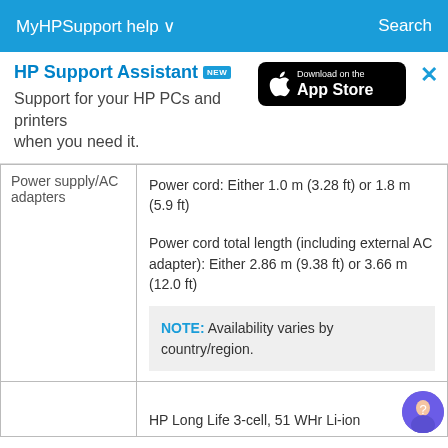MyHPSupport help ∨   Search
HP Support Assistant NEW
Support for your HP PCs and printers when you need it.
[Figure (logo): Download on the App Store button]
| Power supply/AC adapters | Power cord: Either 1.0 m (3.28 ft) or 1.8 m (5.9 ft)

Power cord total length (including external AC adapter): Either 2.86 m (9.38 ft) or 3.66 m (12.0 ft)

NOTE: Availability varies by country/region. |
|  | HP Long Life 3-cell, 51 WHr Li-ion |